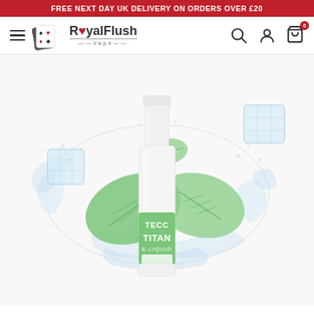FREE NEXT DAY UK DELIVERY ON ORDERS OVER £20
[Figure (logo): Royal Flush Vape logo with playing cards icon]
[Figure (photo): TECC Titan E-Liquid bottle with mint leaves, ice cubes and water splash on white background]